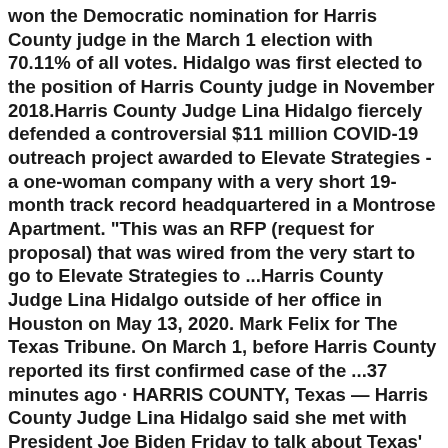won the Democratic nomination for Harris County judge in the March 1 election with 70.11% of all votes. Hidalgo was first elected to the position of Harris County judge in November 2018.Harris County Judge Lina Hidalgo fiercely defended a controversial $11 million COVID-19 outreach project awarded to Elevate Strategies - a one-woman company with a very short 19-month track record headquartered in a Montrose Apartment. "This was an RFP (request for proposal) that was wired from the very start to go to Elevate Strategies to ...Harris County Judge Lina Hidalgo outside of her office in Houston on May 13, 2020. Mark Felix for The Texas Tribune. On March 1, before Harris County reported its first confirmed case of the ...37 minutes ago · HARRIS COUNTY, Texas — Harris County Judge Lina Hidalgo said she met with President Joe Biden Friday to talk about Texas' strict abortion ban. Hidalgo tweeted a photo of her and Biden meeting ... Dec 14, 2021 Commissioners Court - Harris County, TX. Video index. Pastor Coleman Philley of Katy's First Baptist Church. Departments